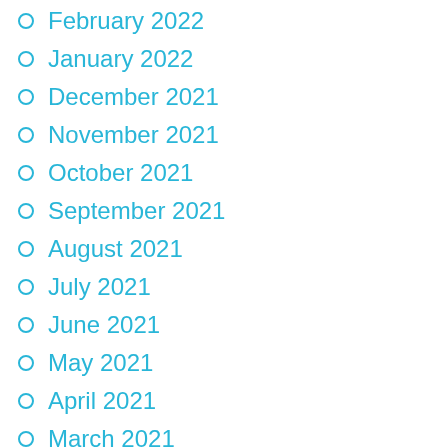February 2022
January 2022
December 2021
November 2021
October 2021
September 2021
August 2021
July 2021
June 2021
May 2021
April 2021
March 2021
February 2021
January 2021
December 2020
November 2020
October 2020
September 2020
August 2020